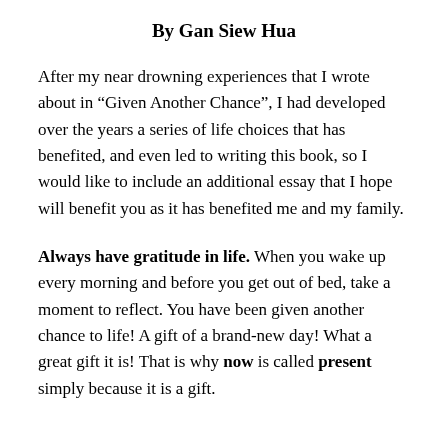By Gan Siew Hua
After my near drowning experiences that I wrote about in “Given Another Chance”, I had developed over the years a series of life choices that has benefited, and even led to writing this book, so I would like to include an additional essay that I hope will benefit you as it has benefited me and my family.
Always have gratitude in life. When you wake up every morning and before you get out of bed, take a moment to reflect. You have been given another chance to life! A gift of a brand-new day! What a great gift it is! That is why now is called present simply because it is a gift.